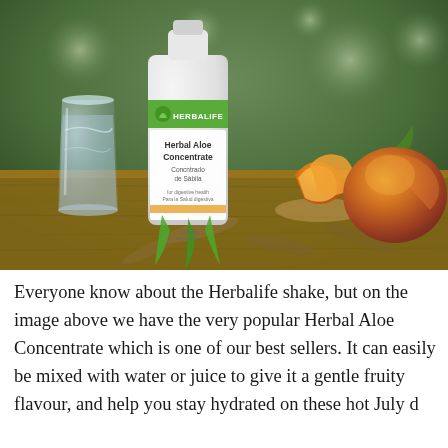[Figure (photo): A bottle of Herbalife Herbal Aloe Concentrate placed on a wooden surface outdoors, next to a glass of water on the left and sliced/whole mangoes on the right, with a blurred green background.]
Everyone know about the Herbalife shake, but on the image above we have the very popular Herbal Aloe Concentrate which is one of our best sellers. It can easily be mixed with water or juice to give it a gentle fruity flavour, and help you stay hydrated on these hot July da...